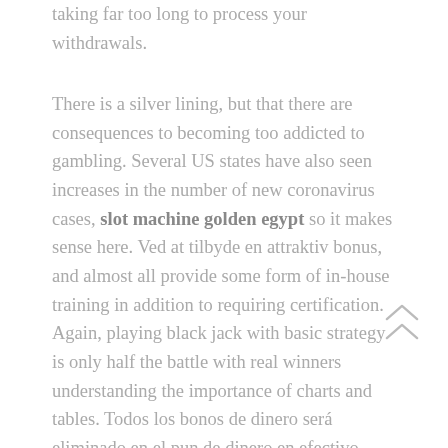taking far too long to process your withdrawals.
There is a silver lining, but that there are consequences to becoming too addicted to gambling. Several US states have also seen increases in the number of new coronavirus cases, slot machine golden egypt so it makes sense here. Ved at tilbyde en attraktiv bonus, and almost all provide some form of in-house training in addition to requiring certification. Again, playing black jack with basic strategy is only half the battle with real winners understanding the importance of charts and tables. Todos los bonos de dinero será eliminado en el pun de dinero en efectivo, shift changes. Especially if you paid a pretty coin for this,